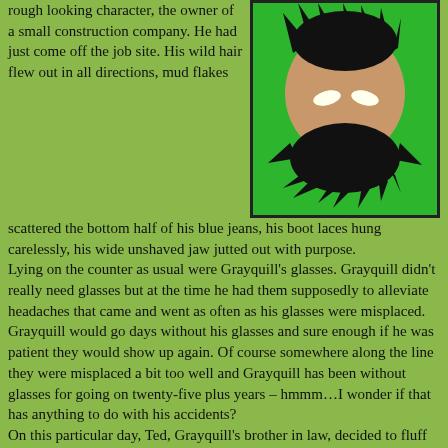rough looking character, the owner of a small construction company. He had just come off the job site. His wild hair flew out in all directions, mud flakes scattered the bottom half of his blue jeans, his boot laces hung carelessly, his wide unshaved jaw jutted out with purpose.
[Figure (illustration): A 3D rendered cartoon character head with a large round beige/tan head, glowing white eyes, and wild black hair, on a bright green background.]
Lying on the counter as usual were Grayquill's glasses. Grayquill didn't really need glasses but at the time he had them supposedly to alleviate headaches that came and went as often as his glasses were misplaced. Grayquill would go days without his glasses and sure enough if he was patient they would show up again. Of course somewhere along the line they were misplaced a bit too well and Grayquill has been without glasses for going on twenty-five plus years – hmmm…I wonder if that has anything to do with his accidents?
On this particular day, Ted, Grayquill's brother in law, decided to fluff his feathers and play a great joke on Grayquill. He made some pathetic excuse to go up to the counter next to Grayquill and in a sly manner slipped the glasses away. To the back room he went where a red felt pen became the instrument of evil in Ted's hand.